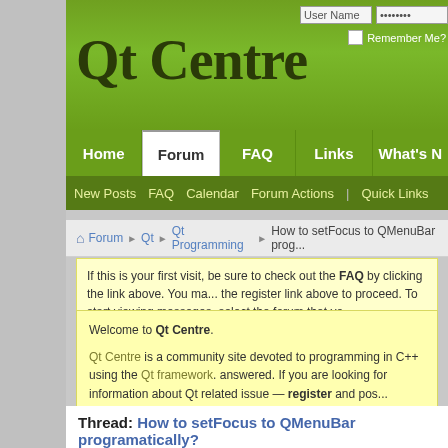Qt Centre
Home | Forum | FAQ | Links | What's N...
New Posts  FAQ  Calendar  Forum Actions  Quick Links
Forum > Qt > Qt Programming > How to setFocus to QMenuBar prog...
If this is your first visit, be sure to check out the FAQ by clicking the link above. You ma... the register link above to proceed. To start viewing messages, select the forum that yo...
Welcome to Qt Centre.

Qt Centre is a community site devoted to programming in C++ using the Qt framework. answered. If you are looking for information about Qt related issue — register and pos...

You are currently viewing our boards as a guest which gives you limited access to view... features. By joining our free community you will have access to post topics, communica... respond to polls, upload content and access many other special features. Registration... join our community today!

If you have any problems with the registration process or your account login, please co...
Thread: How to setFocus to QMenuBar programatically?